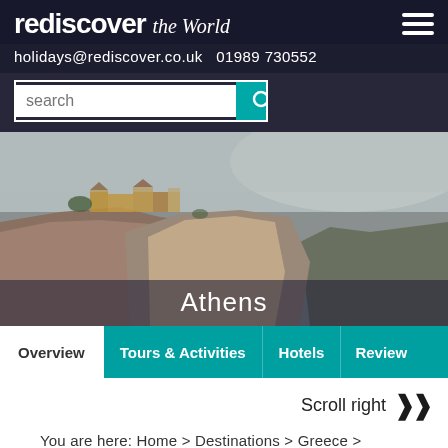rediscover the World
holidays@rediscover.co.uk   01989 730552
[Figure (screenshot): Search bar with teal search button and magnifying glass icon]
[Figure (photo): Hero image of Meteora monastery buildings on dramatic cliff rocks with misty background. Text overlay: Athens]
Overview | Tours & Activities | Hotels | Review
Scroll right »
You are here: Home > Destinations > Greece > Mainland
Greece > Athens